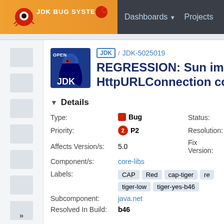JDK Bug System — Dashboards ▼ Projects
JDK / JDK-5025019 REGRESSION: Sun implementation of HttpURLConnection could t
Details
| Field | Value | Field2 | Value2 |
| --- | --- | --- | --- |
| Type: | Bug | Status: |  |
| Priority: | P2 | Resolution: |  |
| Affects Version/s: | 5.0 | Fix Version: |  |
| Component/s: | core-libs |  |  |
| Labels: | CAP  Red  cap-tiger  re...  tiger-low  tiger-yes-b46 |  |  |
| Subcomponent: | java.net |  |  |
| Resolved In Build: | b46 |  |  |